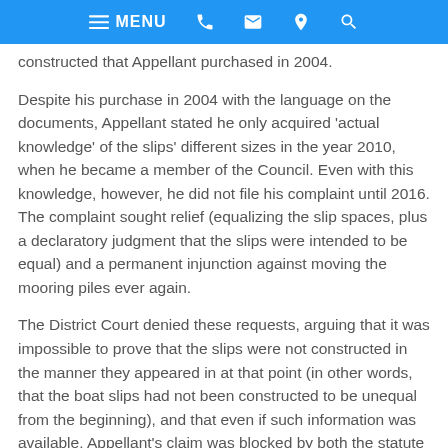MENU [navigation icons]
constructed that Appellant purchased in 2004.
Despite his purchase in 2004 with the language on the documents, Appellant stated he only acquired 'actual knowledge' of the slips' different sizes in the year 2010, when he became a member of the Council. Even with this knowledge, however, he did not file his complaint until 2016. The complaint sought relief (equalizing the slip spaces, plus a declaratory judgment that the slips were intended to be equal) and a permanent injunction against moving the mooring piles ever again.
The District Court denied these requests, arguing that it was impossible to prove that the slips were not constructed in the manner they appeared in at that point (in other words, that the boat slips had not been constructed to be unequal from the beginning), and that even if such information was available, Appellant's claim was blocked by both the statute of limitations and laches (that is, Appellant's delay was